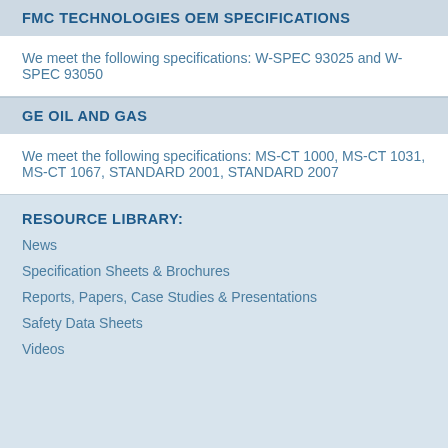FMC TECHNOLOGIES OEM SPECIFICATIONS
We meet the following specifications: W-SPEC 93025 and W-SPEC 93050
GE OIL AND GAS
We meet the following specifications: MS-CT 1000, MS-CT 1031, MS-CT 1067, STANDARD 2001, STANDARD 2007
RESOURCE LIBRARY:
News
Specification Sheets & Brochures
Reports, Papers, Case Studies & Presentations
Safety Data Sheets
Videos